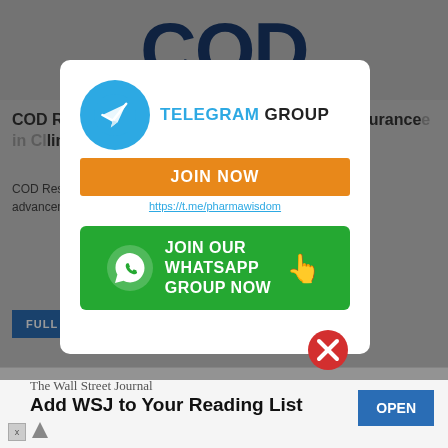[Figure (screenshot): COD Research Pvt. Ltd website screenshot showing article title and text in background, with a popup modal containing Telegram group and WhatsApp group join buttons, and a Wall Street Journal advertisement banner at the bottom]
COD Research Pvt. Ltd – Hiring for Quality Assurance ... linical
COD Research ... solution based specia ... offering a wide variety ... advancement ... targeting a
[Figure (infographic): Telegram GROUP JOIN NOW popup with https://t.me/pharmawisdom link]
[Figure (infographic): JOIN OUR WHATSAPP GROUP NOW green button with WhatsApp icon]
The Wall Street Journal
Add WSJ to Your Reading List
OPEN